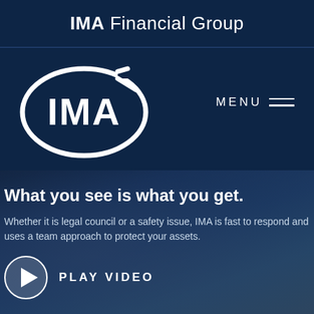IMA Financial Group
[Figure (logo): IMA logo: white oval ellipse with IMA text inside, on dark navy background, with MENU hamburger icon top right]
What you see is what you get.
Whether it is legal council or a safety issue, IMA is fast to respond and uses a team approach to protect your assets.
PLAY VIDEO